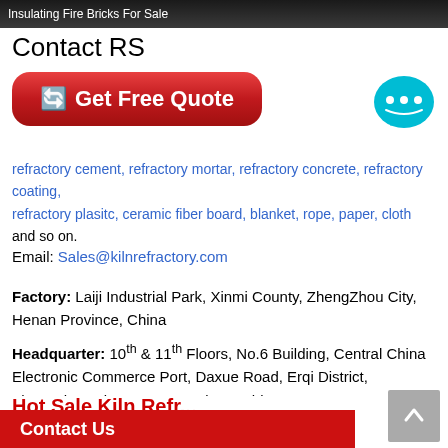[Figure (photo): Dark background banner image with text 'Insulating Fire Bricks For Sale']
Contact RS
[Figure (other): Red rounded button with arrow emoji and text 'Get Free Quote']
[Figure (other): Light blue chat bubble icon with smiley face]
refractory cement, refractory mortar, refractory concrete, refractory coating, refractory plasitc, ceramic fiber board, blanket, rope, paper, cloth and so on.
Email: Sales@kilnrefractory.com
Factory: Laiji Industrial Park, Xinmi County, ZhengZhou City, Henan Province, China
Headquarter: 10th & 11th Floors, No.6 Building, Central China Electronic Commerce Port, Daxue Road, Erqi District, ZhengZhou City, Henan Province, China
Hot Sale Kiln Refractory...
Contact Us